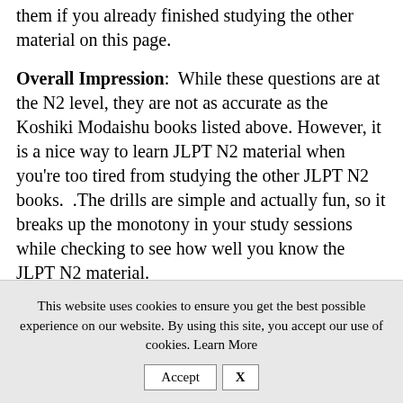them if you already finished studying the other material on this page.
Overall Impression: While these questions are at the N2 level, they are not as accurate as the Koshiki Modaishu books listed above. However, it is a nice way to learn JLPT N2 material when you're too tired from studying the other JLPT N2 books. .The drills are simple and actually fun, so it breaks up the monotony in your study sessions while checking to see how well you know the JLPT N2 material.
This website uses cookies to ensure you get the best possible experience on our website. By using this site, you accept our use of cookies. Learn More